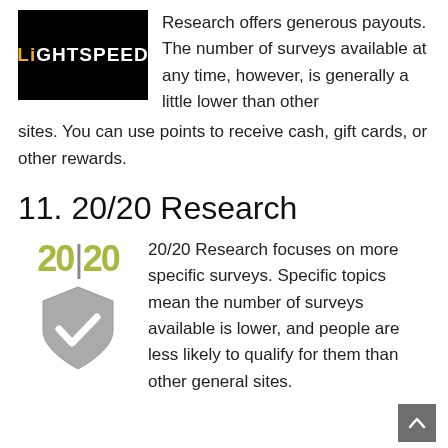[Figure (logo): Lightspeed logo: black background with 'LiGHTSPEED' text in orange/yellow]
Research offers generous payouts. The number of surveys available at any time, however, is generally a little lower than other sites. You can use points to receive cash, gift cards, or other rewards.
11. 20/20 Research
[Figure (logo): 20/20 Research logo: '20|20' in olive/yellow-green text above a gray shield with a white checkmark]
20/20 Research focuses on more specific surveys. Specific topics mean the number of surveys available is lower, and people are less likely to qualify for them than other general sites.